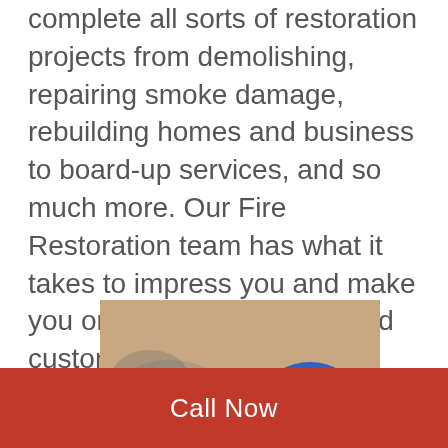complete all sorts of restoration projects from demolishing, repairing smoke damage, rebuilding homes and business to board-up services, and so much more. Our Fire Restoration team has what it takes to impress you and make you one of our many satisfied customers in and the surrounding areas. We provide emergency services as well for all your immediate needs no matter the time day or night 24/7/365. You can always reach us at (908) 356-7940.
[Figure (photo): A firefighter wearing a blue helmet and protective gear directing a water hose at flames and fire]
Call Now